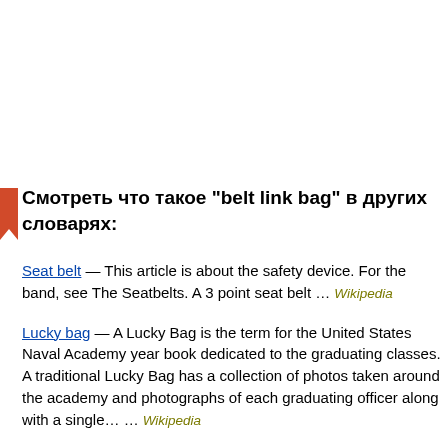Смотреть что такое "belt link bag" в других словарях:
Seat belt — This article is about the safety device. For the band, see The Seatbelts. A 3 point seat belt … Wikipedia
Lucky bag — A Lucky Bag is the term for the United States Naval Academy year book dedicated to the graduating classes. A traditional Lucky Bag has a collection of photos taken around the academy and photographs of each graduating officer along with a single… … Wikipedia
Money bag — Moneybags redirects here. For the game character, see Moneybags (Spyro character). For the currency, see F…